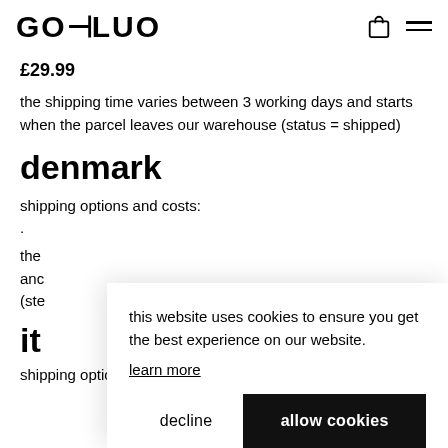GOFLUO
£29.99
the shipping time varies between 3 working days and starts when the parcel leaves our warehouse (status = shipped)
denmark
shipping options and costs:
the shipping time varies between 3 working days and starts when the parcel leaves our warehouse (status = shipped)
it
shipping options and costs:
this website uses cookies to ensure you get the best experience on our website.
learn more
decline
allow cookies